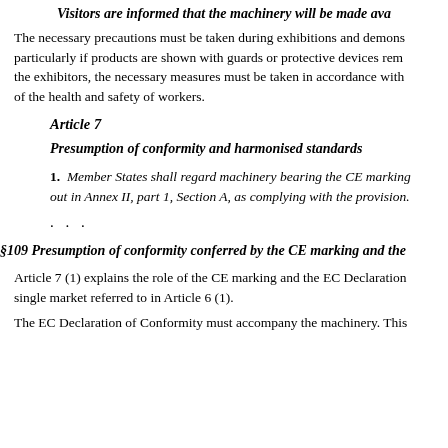Visitors are informed that the machinery will be made ava…
The necessary precautions must be taken during exhibitions and demons… particularly if products are shown with guards or protective devices rem… the exhibitors, the necessary measures must be taken in accordance with… of the health and safety of workers.
Article 7
Presumption of conformity and harmonised standards
1. Member States shall regard machinery bearing the CE marking… out in Annex II, part 1, Section A, as complying with the provision…
…
§109 Presumption of conformity conferred by the CE marking and the…
Article 7 (1) explains the role of the CE marking and the EC Declaration… single market referred to in Article 6 (1).
The EC Declaration of Conformity must accompany the machinery. This…